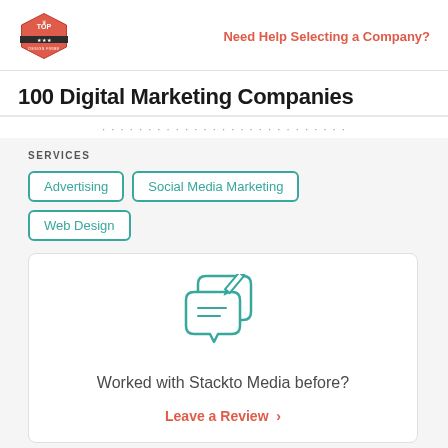Need Help Selecting a Company?
100 Digital Marketing Companies
SERVICES
Advertising
Social Media Marketing
Web Design
[Figure (illustration): Chat/review icon in teal showing two speech bubbles with a pencil writing lines]
Worked with Stackto Media before?
Leave a Review >